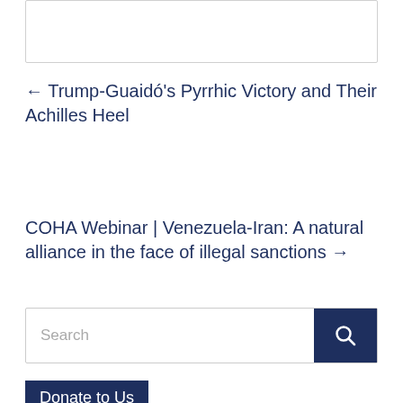[Figure (other): White rectangular box at top of page, bordered in light gray]
← Trump-Guaidó's Pyrrhic Victory and Their Achilles Heel
COHA Webinar | Venezuela-Iran: A natural alliance in the face of illegal sanctions →
[Figure (other): Search bar with text input field and dark navy search button with magnifying glass icon]
Donate to Us
[Figure (other): Teal circle with white heart icon]
Please support COHA through tax-deductible contributions. Our mission encourages